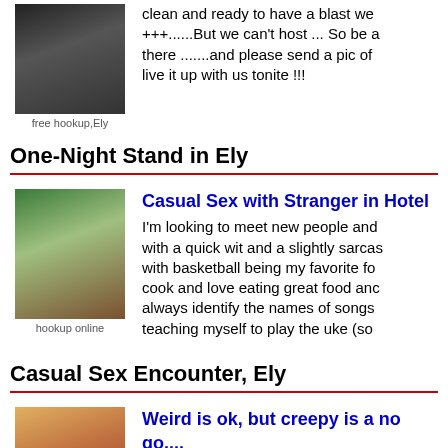[Figure (photo): Thumbnail photo top listing]
free hookup,Ely
clean and ready to have a blast we +++......But we can't host ... So be a there .......and please send a pic of live it up with us tonite !!!
One-Night Stand in Ely
[Figure (photo): Thumbnail photo middle listing]
hookup online
Casual Sex with Stranger in Hotel
I'm looking to meet new people and with a quick wit and a slightly sarcas with basketball being my favorite fo cook and love eating great food anc always identify the names of songs teaching myself to play the uke (so
Casual Sex Encounter, Ely
[Figure (photo): Thumbnail photo bottom listing]
Weird is ok, but creepy is a no go....
Looking for someone who is laid ba nature, like myself. I'm in my late 20 some type of hippie in a past life...L